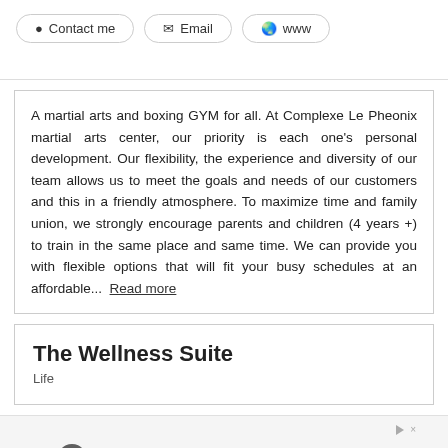Contact me | Email | www
A martial arts and boxing GYM for all. At Complexe Le Pheonix martial arts center, our priority is each one's personal development. Our flexibility, the experience and diversity of our team allows us to meet the goals and needs of our customers and this in a friendly atmosphere. To maximize time and family union, we strongly encourage parents and children (4 years +) to train in the same place and same time. We can provide you with flexible options that will fit your busy schedules at an affordable... Read more
The Wellness Suite
Life
[Figure (infographic): Advertisement banner with orange and dark logo icon on the left and text 'Premium Solar Inventory' on the right, on a light gray background with ad disclosure icon top right.]